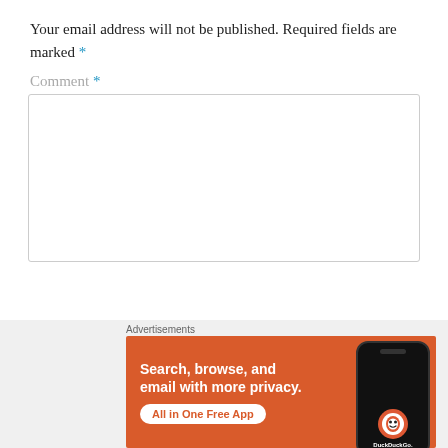Your email address will not be published. Required fields are marked *
Comment *
[Figure (screenshot): Empty comment text area input box with light border]
[Figure (screenshot): DuckDuckGo advertisement banner on orange background reading 'Search, browse, and email with more privacy. All in One Free App' with phone graphic showing DuckDuckGo logo]